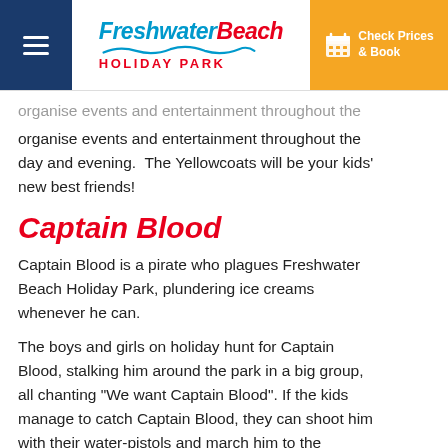[Figure (logo): Freshwater Beach Holiday Park logo with blue and red text and wave graphic]
organise events and entertainment throughout the day and evening.  The Yellowcoats will be your kids' new best friends!
Captain Blood
Captain Blood is a pirate who plagues Freshwater Beach Holiday Park, plundering ice creams whenever he can.
The boys and girls on holiday hunt for Captain Blood, stalking him around the park in a big group, all chanting "We want Captain Blood". If the kids manage to catch Captain Blood, they can shoot him with their water-pistols and march him to the swimming pool and make him walk the plank. Good